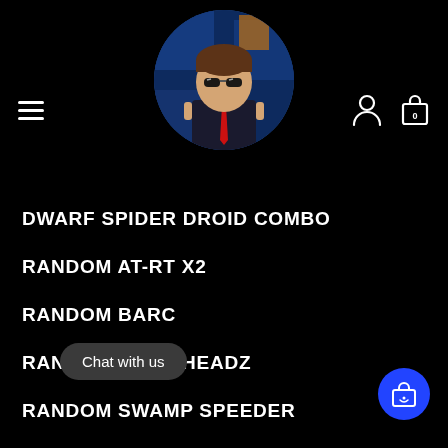[Figure (screenshot): Website header with hamburger menu, circular avatar illustration of cartoon character in suit with sunglasses, person icon, and shopping bag icon with 0]
DWARF SPIDER DROID COMBO
RANDOM AT-RT X2
RANDOM BARC
RANDOM BRICKHEADZ
RANDOM SWAMP SPEEDER
R... DROID
RANDOM VULTURE DROID
Chat with us